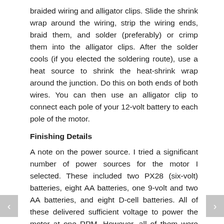braided wiring and alligator clips. Slide the shrink wrap around the wiring, strip the wiring ends, braid them, and solder (preferably) or crimp them into the alligator clips. After the solder cools (if you elected the soldering route), use a heat source to shrink the heat-shrink wrap around the junction. Do this on both ends of both wires. You can then use an alligator clip to connect each pole of your 12-volt battery to each pole of the motor.
Finishing Details
A note on the power source. I tried a significant number of power sources for the motor I selected. These included two PX28 (six-volt) batteries, eight AA batteries, one 9-volt and two AA batteries, and eight D-cell batteries. All of these delivered sufficient voltage to power the motor at one RPM. However, all of them were draining far outside of their safe operating range. The AA batteries drained so quickly that they melted the solder on one of their holder's retaining